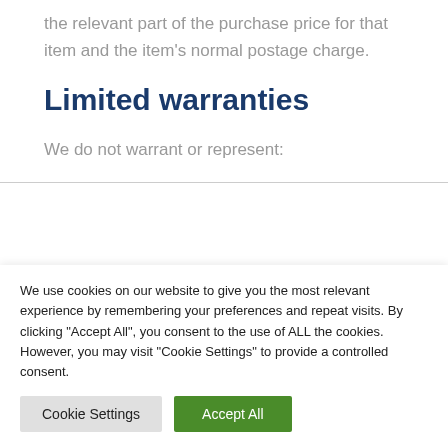the relevant part of the purchase price for that item and the item's normal postage charge.
Limited warranties
We do not warrant or represent:
We use cookies on our website to give you the most relevant experience by remembering your preferences and repeat visits. By clicking "Accept All", you consent to the use of ALL the cookies. However, you may visit "Cookie Settings" to provide a controlled consent.